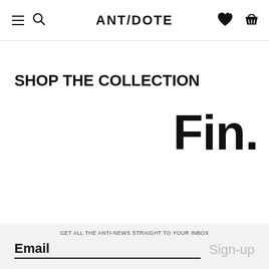ANT/DOTE
SHOP THE COLLECTION
Fin.
GET ALL THE ANTI-NEWS STRAIGHT TO YOUR INBOX
Email
Sign-up